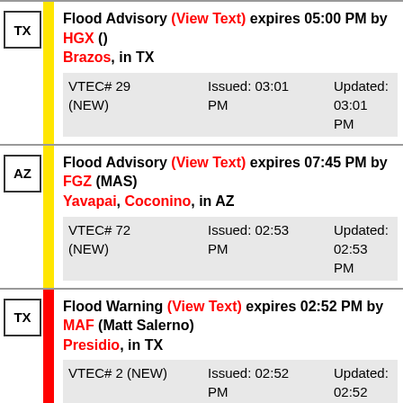TX | Flood Advisory (View Text) expires 05:00 PM by HGX () | Brazos, in TX | VTEC# 29 (NEW) Issued: 03:01 PM Updated: 03:01 PM
AZ | Flood Advisory (View Text) expires 07:45 PM by FGZ (MAS) | Yavapai, Coconino, in AZ | VTEC# 72 (NEW) Issued: 02:53 PM Updated: 02:53 PM
TX | Flood Warning (View Text) expires 02:52 PM by MAF (Matt Salerno) | Presidio, in TX | VTEC# 2 (NEW) Issued: 02:52 PM Updated: 02:52 PM